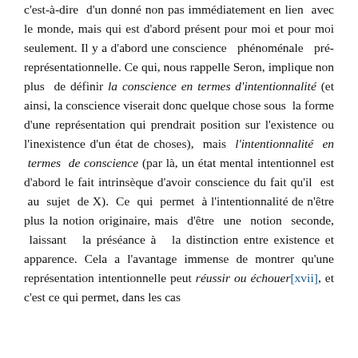c'est-à-dire d'un donné non pas immédiatement en lien avec le monde, mais qui est d'abord présent pour moi et pour moi seulement. Il y a d'abord une conscience phénoménale pré-représentationnelle. Ce qui, nous rappelle Seron, implique non plus de définir la conscience en termes d'intentionnalité (et ainsi, la conscience viserait donc quelque chose sous la forme d'une représentation qui prendrait position sur l'existence ou l'inexistence d'un état de choses), mais l'intentionnalité en termes de conscience (par là, un état mental intentionnel est d'abord le fait intrinsèque d'avoir conscience du fait qu'il est au sujet de X). Ce qui permet à l'intentionnalité de n'être plus la notion originaire, mais d'être une notion seconde, laissant la préséance à la distinction entre existence et apparence. Cela a l'avantage immense de montrer qu'une représentation intentionnelle peut réussir ou échouer[xvii], et c'est ce qui permet, dans les cas